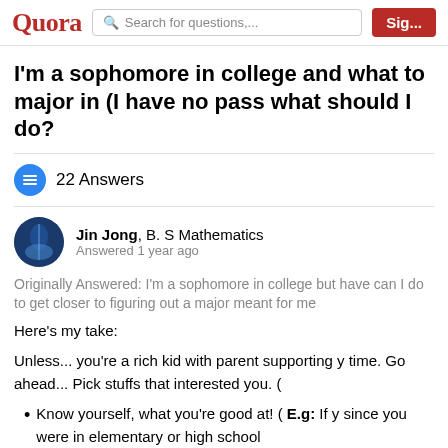Quora | Search for questions,... | Sig...
I'm a sophomore in college and what to major in (I have no pass what should I do?
22 Answers
Jin Jong, B. S Mathematics
Answered 1 year ago
Originally Answered: I'm a sophomore in college but have can I do to get closer to figuring out a major meant for me
Here's my take:
Unless... you're a rich kid with parent supporting y time. Go ahead... Pick stuffs that interested you. (
Know yourself, what you're good at! ( E.g: If y since you were in elementary or high school